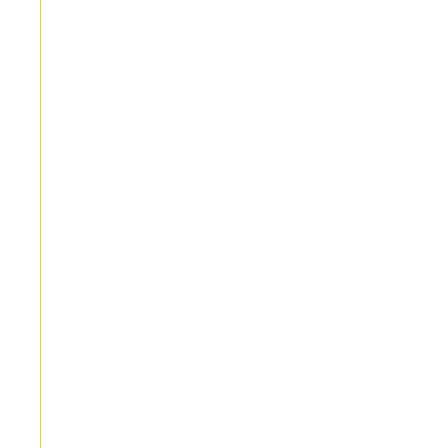From Conventional Perspective
Overcome Female Infertility --Follicle-stimulating hormone (FSH): Definition, Effects, Side Effects and Risks
Overcome Female Infertility -- Gonadotrophin-releasing hormone (GnRH): Definition, Effects, Side Effects and Risks
Overcome Female Infertility --How to Treat Infertility With Angelica Root (Dong Qui)
Overcome Female Infertility --How to Treat Infertility With Bupleurum
Overcome Female Infertility --How to